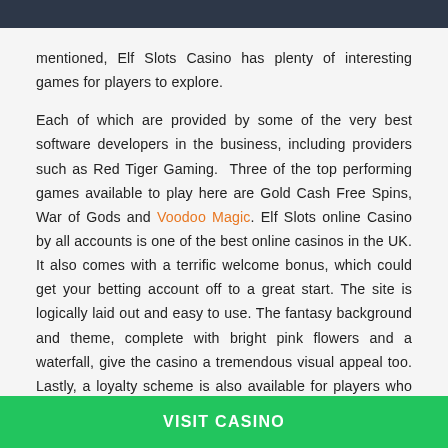mentioned, Elf Slots Casino has plenty of interesting games for players to explore.

Each of which are provided by some of the very best software developers in the business, including providers such as Red Tiger Gaming. Three of the top performing games available to play here are Gold Cash Free Spins, War of Gods and Voodoo Magic. Elf Slots online Casino by all accounts is one of the best online casinos in the UK. It also comes with a terrific welcome bonus, which could get your betting account off to a great start. The site is logically laid out and easy to use. The fantasy background and theme, complete with bright pink flowers and a waterfall, give the casino a tremendous visual appeal too. Lastly, a loyalty scheme is also available for players who consistently game with Elf Slots Casino.
VISIT CASINO